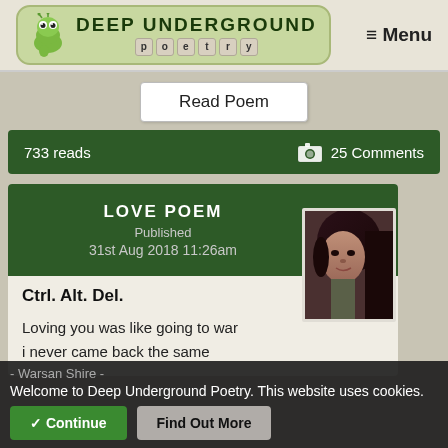[Figure (logo): Deep Underground Poetry logo with cartoon worm and letter tiles]
≡ Menu
Read Poem
733 reads
25 Comments
LOVE POEM
Published
31st Aug 2018 11:26am
[Figure (photo): Author profile photo - woman with dark hair]
Ctrl. Alt. Del.
Loving you was like going to war
i never came back the same
- Warsan Shire -
Welcome to Deep Underground Poetry. This website uses cookies.
✓ Continue
Find Out More